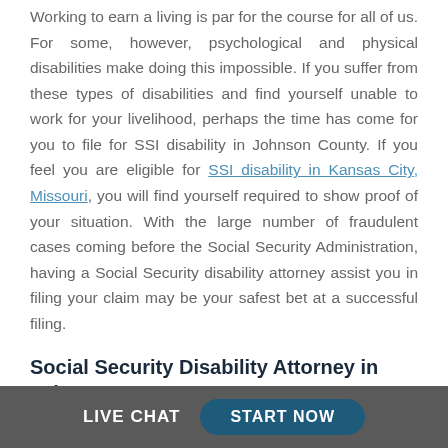Working to earn a living is par for the course for all of us. For some, however, psychological and physical disabilities make doing this impossible. If you suffer from these types of disabilities and find yourself unable to work for your livelihood, perhaps the time has come for you to file for SSI disability in Johnson County. If you feel you are eligible for SSI disability in Kansas City, Missouri, you will find yourself required to show proof of your situation. With the large number of fraudulent cases coming before the Social Security Administration, having a Social Security disability attorney assist you in filing your claim may be your safest bet at a successful filing.
Social Security Disability Attorney in Johnson County
LIVE CHAT   START NOW